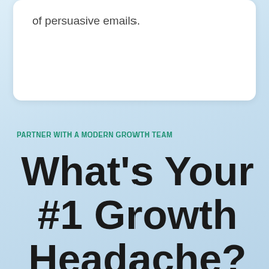of persuasive emails.
PARTNER WITH A MODERN GROWTH TEAM
What's Your #1 Growth Headache?